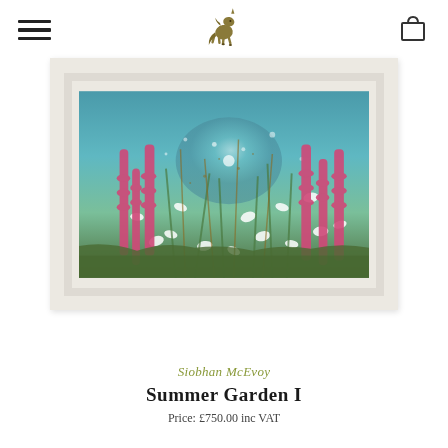Navigation header with hamburger menu, unicorn logo, and bag icon
[Figure (photo): Painting of a summer garden with pink foxgloves, white flowers, against a teal/turquoise sky background, displayed in a white ornate frame. Artist: Siobhan McEvoy, Title: Summer Garden I]
Siobhan McEvoy
Summer Garden I
Price: £750.00 inc VAT